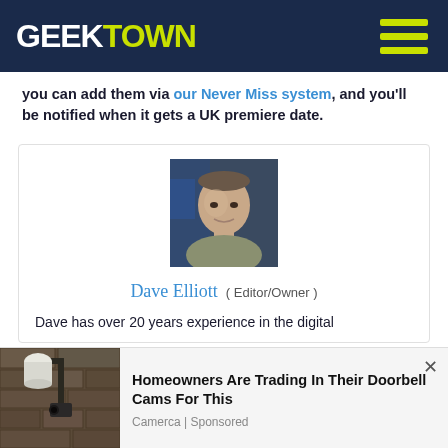GEEKTOWN
you can add them via our Never Miss system, and you'll be notified when it gets a UK premiere date.
[Figure (photo): Headshot photo of Dave Elliott, a middle-aged man with a slight smile, dark background with blue lighting]
Dave Elliott  ( Editor/Owner )
Dave has over 20 years experience in the digital
[Figure (photo): Advertisement image showing outdoor security camera on stone wall]
Homeowners Are Trading In Their Doorbell Cams For This
Camerca | Sponsored